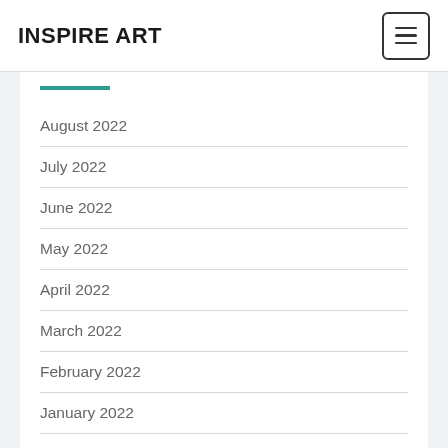INSPIRE ART
August 2022
July 2022
June 2022
May 2022
April 2022
March 2022
February 2022
January 2022
December 2021